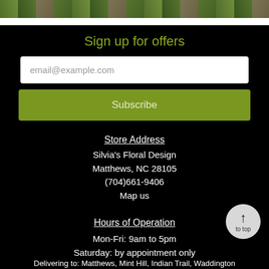[Figure (photo): Decorative floral/botanical photo strip at top]
Sign up for offers
email@example.com
Subscribe
Store Address
Silvia's Floral Design
Matthews, NC 28105
(704)661-9406
Map us
Hours of Operation
Mon-Fri: 9am to 5pm
Saturday: by appointment only
Sunday: Closed
Delivering to: Matthews, Mint Hill, Indian Trail, Waddington